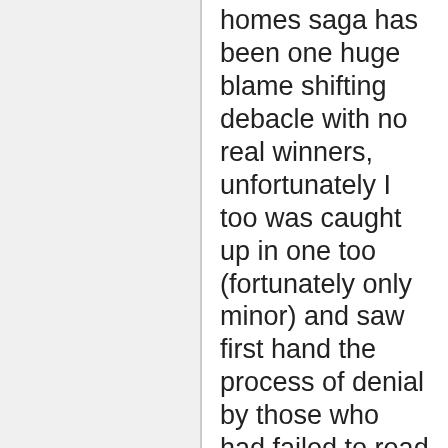homes saga has been one huge blame shifting debacle with no real winners, unfortunately I too was caught up in one too (fortunately only minor) and saw first hand the process of denial by those who had failed to read